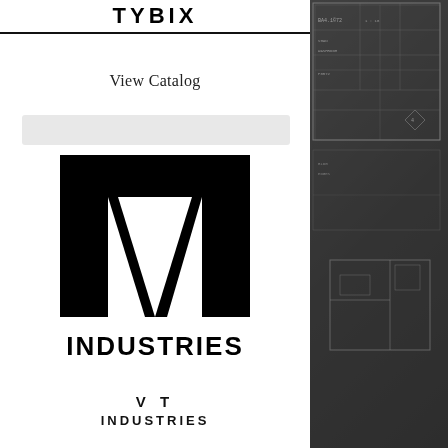TYBIX
View Catalog
[Figure (logo): VT Industries logo: large black geometric VT monogram with 'INDUSTRIES' text below]
VT INDUSTRIES